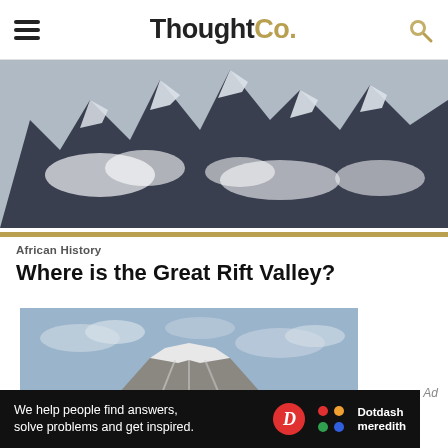ThoughtCo.
[Figure (photo): Aerial view of snow-capped mountain range with clouds]
African History
Where is the Great Rift Valley?
[Figure (photo): Snow-capped volcanic mountain (likely Mount Longonot or similar) against blue sky]
Ad
We help people find answers, solve problems and get inspired. Dotdash meredith